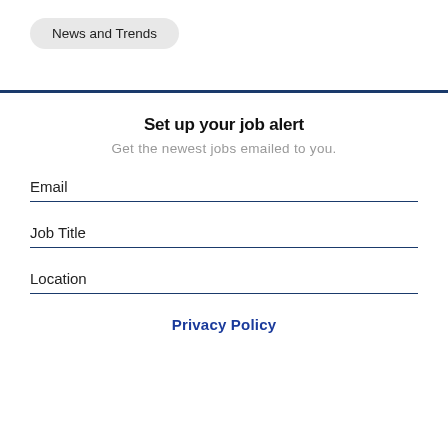News and Trends
Set up your job alert
Get the newest jobs emailed to you.
Email
Job Title
Location
Privacy Policy